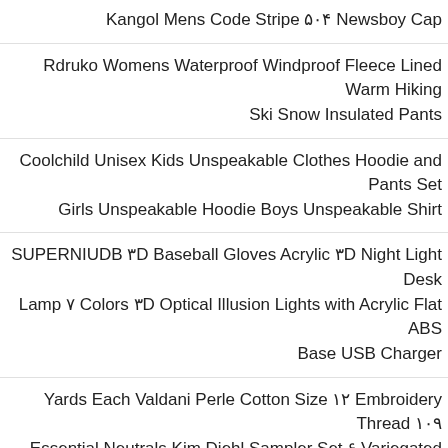Kangol Mens Code Stripe ۵۰۴ Newsboy Cap
Rdruko Womens Waterproof Windproof Fleece Lined Warm Hiking Ski Snow Insulated Pants
Coolchild Unisex Kids Unspeakable Clothes Hoodie and Pants Set Girls Unspeakable Hoodie Boys Unspeakable Shirt
SUPERNIUDB ۳D Baseball Gloves Acrylic ۳D Night Light Desk Lamp ۷ Colors ۳D Optical Illusion Lights with Acrylic Flat ABS Base USB Charger
Yards Each Valdani Perle Cotton Size ۱۲ Embroidery Thread ۱۰۹ Essential Neutrals Kim Diehl Sampler Set ۶ Variegated Colors
Pack LED Safety Flares Road Emergency Lights DIBMS ۶ Roadside Safety Flashing Warning Flare Light Kit Beacon Disc for Vehicle Truck Car Boat ۹ Flash Modes Emergency Signal Batteries
[Figure (other): Green WhatsApp contact button with Arabic text 'ارتباط در واتساپ']
Coldchild Womens Hooded...To Cool...